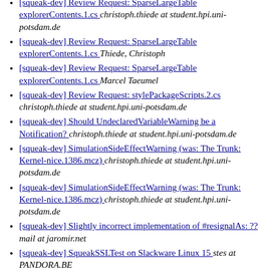[squeak-dev] Review Request: SparseLargeTable explorerContents.1.cs  christoph.thiede at student.hpi.uni-potsdam.de
[squeak-dev] Review Request: SparseLargeTable explorerContents.1.cs  Thiede, Christoph
[squeak-dev] Review Request: SparseLargeTable explorerContents.1.cs  Marcel Taeumel
[squeak-dev] Review Request: stylePackageScripts.2.cs  christoph.thiede at student.hpi.uni-potsdam.de
[squeak-dev] Should UndeclaredVariableWarning be a Notification?  christoph.thiede at student.hpi.uni-potsdam.de
[squeak-dev] SimulationSideEffectWarning (was: The Trunk: Kernel-nice.1386.mcz)  christoph.thiede at student.hpi.uni-potsdam.de
[squeak-dev] SimulationSideEffectWarning (was: The Trunk: Kernel-nice.1386.mcz)  christoph.thiede at student.hpi.uni-potsdam.de
[squeak-dev] Slightly incorrect implementation of #resignalAs: ??  mail at jaromir.net
[squeak-dev] SqueakSSLTest on Slackware Linux 15  stes at PANDORA.BE
[squeak-dev] SqueakSSLTest on Slackware Linux 15  Tobias Pape
[squeak-dev] SqueakSSLTest on Slackware Linux 15